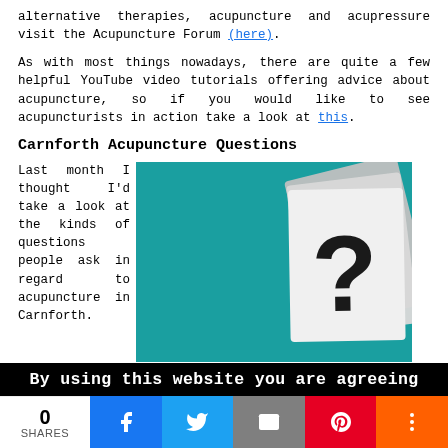alternative therapies, acupuncture and acupressure visit the Acupuncture Forum (here).
As with most things nowadays, there are quite a few helpful YouTube video tutorials offering advice about acupuncture, so if you would like to see acupuncturists in action take a look at this.
Carnforth Acupuncture Questions
Last month I thought I'd take a look at the kinds of questions people ask in regard to acupuncture in Carnforth.
[Figure (photo): Photo of stacked white cards with a question mark on a teal/blue background]
Quite a few of you have mailed in some compelling questions that I thought would be relevant to this post. The ones
By using this website you are agreeing
0
SHARES